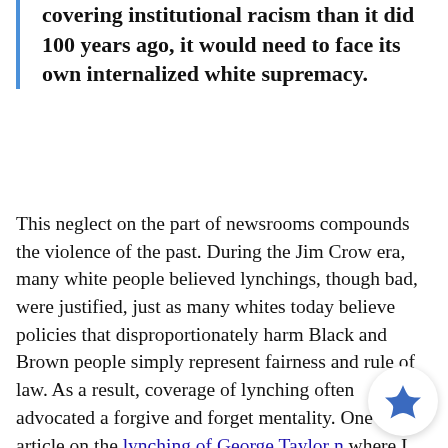covering institutional racism than it did 100 years ago, it would need to face its own internalized white supremacy.
This neglect on the part of newsrooms compounds the violence of the past. During the Jim Crow era, many white people believed lynchings, though bad, were justified, just as many whites today believe policies that disproportionately harm Black and Brown people simply represent fairness and rule of law. As a result, coverage of lynching often advocated a forgive and forget mentality. One article on the lynching of George Taylor near where I live in Durham, in 1918, was headlined "Was to Be Expected," referring both to the